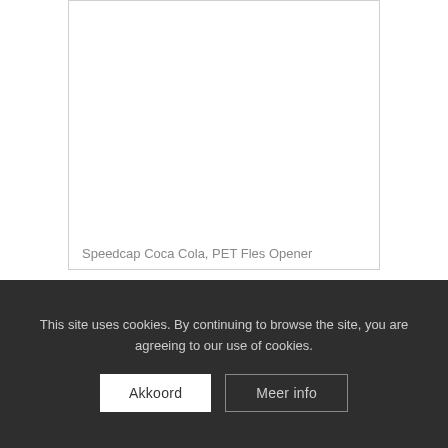[Figure (photo): White card/product image area — empty white space within a bordered card]
Speedcap Coca Cola, PET Fles Opener
[Figure (photo): Second white card area — empty white space within a bordered card]
This site uses cookies. By continuing to browse the site, you are agreeing to our use of cookies.
Akkoord
Meer info